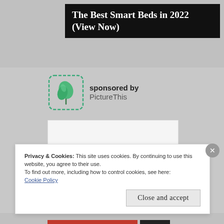The Best Smart Beds in 2022 (View Now)
sponsored by
PictureThis
[Figure (other): Gray rectangular advertisement content area with light border]
Privacy & Cookies: This site uses cookies. By continuing to use this website, you agree to their use.
To find out more, including how to control cookies, see here:
Cookie Policy
Close and accept